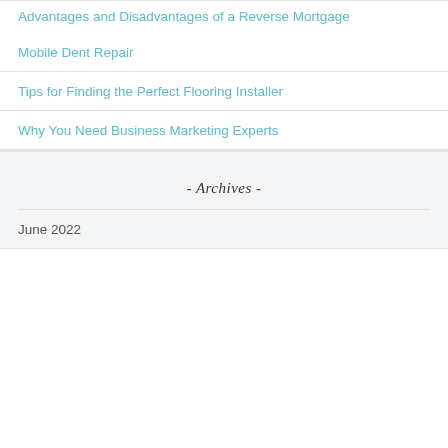Advantages and Disadvantages of a Reverse Mortgage
Mobile Dent Repair
Tips for Finding the Perfect Flooring Installer
Why You Need Business Marketing Experts
- Archives -
June 2022